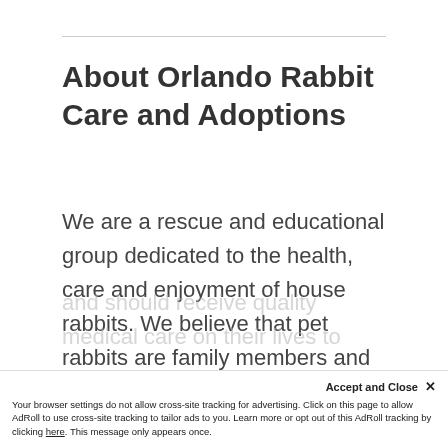About Orlando Rabbit Care and Adoptions
We are a rescue and educational group dedicated to the health, care and enjoyment of house rabbits. We believe that pet rabbits are family members and should be housed indoors, should be fed a healthy diet, should be spayed or neutered, and should receive quality medical care on their lives to
Accept and Close ✕
Your browser settings do not allow cross-site tracking for advertising. Click on this page to allow AdRoll to use cross-site tracking to tailor ads to you. Learn more or opt out of this AdRoll tracking by clicking here. This message only appears once.